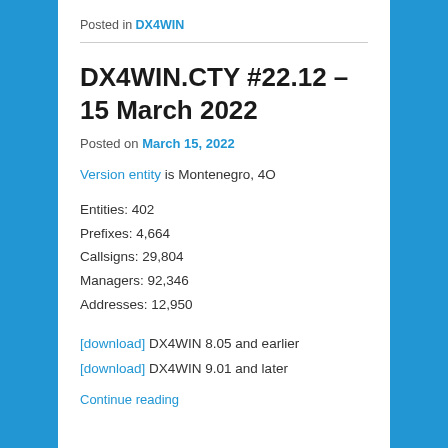Posted in DX4WIN
DX4WIN.CTY #22.12 – 15 March 2022
Posted on March 15, 2022
Version entity is Montenegro, 4O
Entities: 402
Prefixes: 4,664
Callsigns: 29,804
Managers: 92,346
Addresses: 12,950
[download] DX4WIN 8.05 and earlier
[download] DX4WIN 9.01 and later